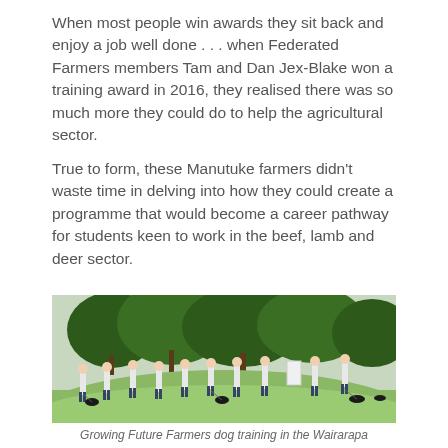When most people win awards they sit back and enjoy a job well done . . . when Federated Farmers members Tam and Dan Jex-Blake won a training award in 2016, they realised there was so much more they could do to help the agricultural sector.
True to form, these Manutuke farmers didn't waste time in delving into how they could create a programme that would become a career pathway for students keen to work in the beef, lamb and deer sector.
[Figure (photo): A group of students in white shirts standing on a grassy hillside with trees in the background, each holding a dog on a leash, participating in a dog training session in the Wairarapa.]
Growing Future Farmers dog training in the Wairarapa